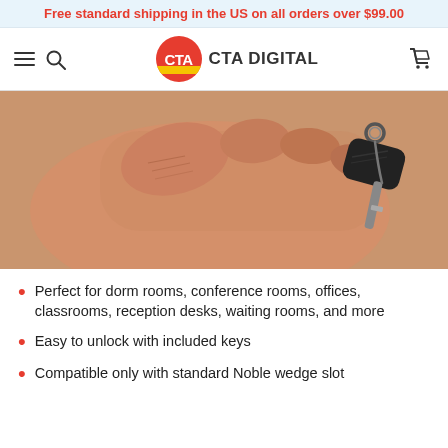Free standard shipping in the US on all orders over $99.00
[Figure (logo): CTA Digital logo with hamburger menu, search icon, and cart icon navigation bar]
[Figure (photo): A hand holding a small key with a black key fob, used to unlock a Noble wedge security slot]
Perfect for dorm rooms, conference rooms, offices, classrooms, reception desks, waiting rooms, and more
Easy to unlock with included keys
Compatible only with standard Noble wedge slot